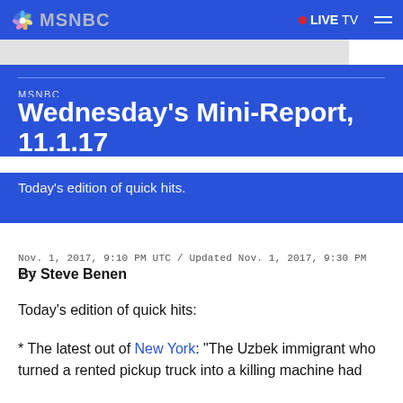MSNBC  ●LIVE TV
MSNBC
Wednesday's Mini-Report, 11.1.17
Today's edition of quick hits.
Nov. 1, 2017, 9:10 PM UTC / Updated Nov. 1, 2017, 9:30 PM UTC
By Steve Benen
Today's edition of quick hits:
* The latest out of New York: "The Uzbek immigrant who turned a rented pickup truck into a killing machine had